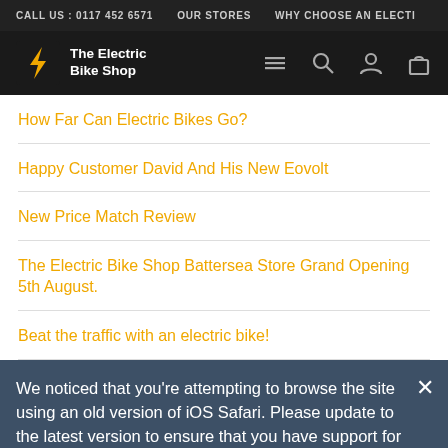CALL US : 0117 452 6571   OUR STORES   WHY CHOOSE AN ELECTI
[Figure (logo): The Electric Bike Shop logo with yellow lightning bolt icon and white text on black nav bar]
How Far Can Electric Bikes Go?
Happy Customer David And His New Eovolt
New Price Match Review
The Electric Bike Shop Battersea Store Grand Opening 5th August.
Beat the traffic with an electric bike!
We noticed that you're attempting to browse the site using an old version of iOS Safari. Please update to the latest version to ensure that you have support for the latest features and the most recent security updates.